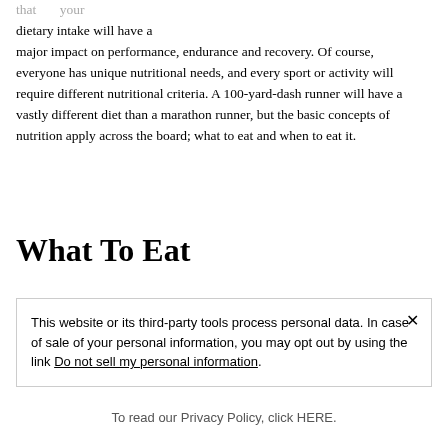that your dietary intake will have a major impact on performance, endurance and recovery. Of course, everyone has unique nutritional needs, and every sport or activity will require different nutritional criteria. A 100-yard-dash runner will have a vastly different diet than a marathon runner, but the basic concepts of nutrition apply across the board; what to eat and when to eat it.
What To Eat
This website or its third-party tools process personal data. In case of sale of your personal information, you may opt out by using the link Do not sell my personal information.
To read our Privacy Policy, click HERE.